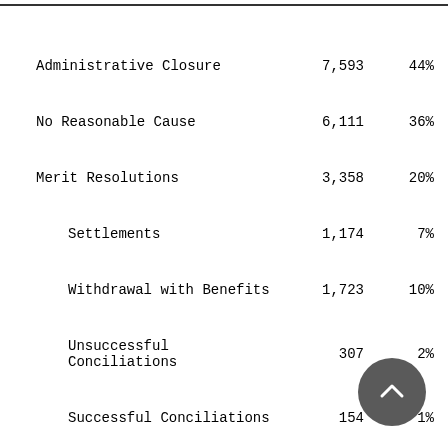|  | Count | Percent |
| --- | --- | --- |
| Administrative Closure | 7,593 | 44% |
| No Reasonable Cause | 6,111 | 36% |
| Merit Resolutions | 3,358 | 20% |
|   Settlements | 1,174 | 7% |
|   Withdrawal with Benefits | 1,723 | 10% |
|   Unsuccessful Conciliations | 307 | 2% |
|   Successful Conciliations | 154 | 1% |